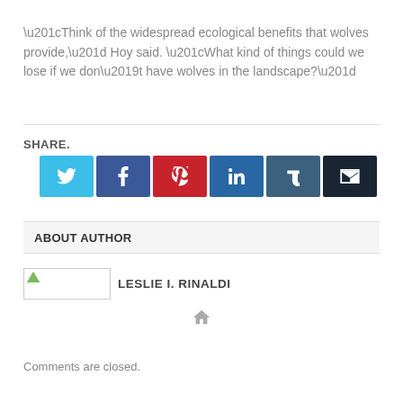“Think of the widespread ecological benefits that wolves provide,” Hoy said. “What kind of things could we lose if we don’t have wolves in the landscape?”
SHARE.
[Figure (other): Social media share buttons: Twitter (blue), Facebook (dark blue), Pinterest (red), LinkedIn (blue), Tumblr (dark slate blue), Email (very dark)]
ABOUT AUTHOR
[Figure (other): Author photo placeholder image box]
LESLIE I. RINALDI
[Figure (other): Home icon (house symbol)]
Comments are closed.